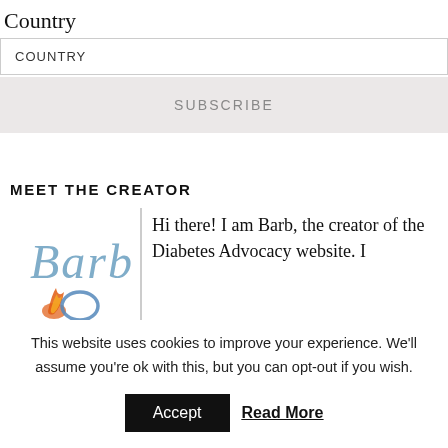Country
COUNTRY
SUBSCRIBE
MEET THE CREATOR
[Figure (illustration): Cursive 'Barb' logo with flame/circle emblem below]
Hi there! I am Barb, the creator of the Diabetes Advocacy website. I
This website uses cookies to improve your experience. We'll assume you're ok with this, but you can opt-out if you wish.
Accept
Read More